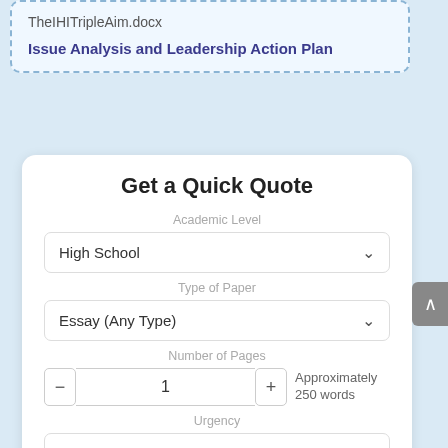TheIHITripleAim.docx
Issue Analysis and Leadership Action Plan
Get a Quick Quote
Academic Level
High School
Type of Paper
Essay (Any Type)
Number of Pages
1
Approximately 250 words
Urgency
3 Hours
Total price (USD) $: 10.99
ORDER NOW